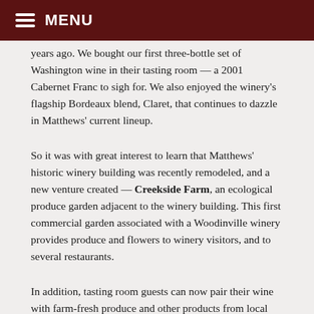MENU
years ago. We bought our first three-bottle set of Washington wine in their tasting room — a 2001 Cabernet Franc to sigh for. We also enjoyed the winery's flagship Bordeaux blend, Claret, that continues to dazzle in Matthews' current lineup.
So it was with great interest to learn that Matthews' historic winery building was recently remodeled, and a new venture created — Creekside Farm, an ecological produce garden adjacent to the winery building. This first commercial garden associated with a Woodinville winery provides produce and flowers to winery visitors, and to several restaurants.
In addition, tasting room guests can now pair their wine with farm-fresh produce and other products from local dairies, bakeries, creameries and charcuterie producers such as Cherry Valley Dairy and The Commons.
Located between the Woodinville Schoolhouse Wine